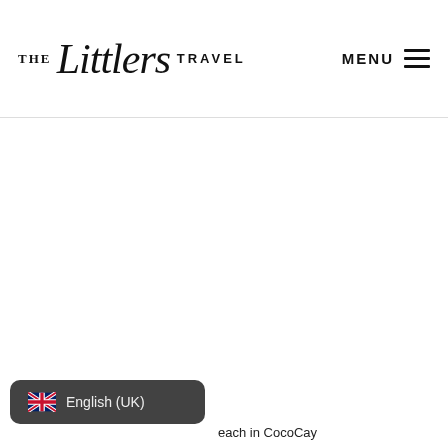THE Littlers TRAVEL | MENU
[Figure (screenshot): White blank content area below the navigation header]
[Figure (infographic): Dark rounded badge showing UK flag emoji and 'English (UK)' language selector at bottom left of page]
each in CocoCay